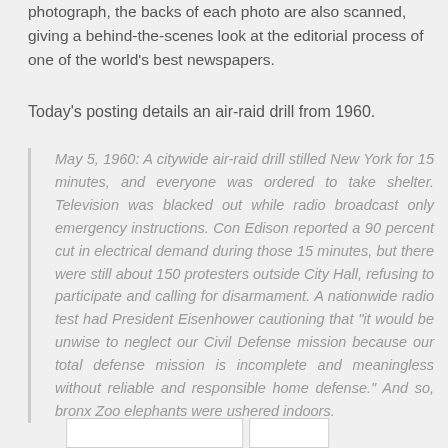photograph, the backs of each photo are also scanned, giving a behind-the-scenes look at the editorial process of one of the world's best newspapers.
Today's posting details an air-raid drill from 1960.
May 5, 1960: A citywide air-raid drill stilled New York for 15 minutes, and everyone was ordered to take shelter. Television was blacked out while radio broadcast only emergency instructions. Con Edison reported a 90 percent cut in electrical demand during those 15 minutes, but there were still about 150 protesters outside City Hall, refusing to participate and calling for disarmament. A nationwide radio test had President Eisenhower cautioning that "it would be unwise to neglect our Civil Defense mission because our total defense mission is incomplete and meaningless without reliable and responsible home defense." And so, bronx Zoo elephants were ushered indoors.
[Figure (other): Two partially visible rectangular image boxes at the bottom of the page]